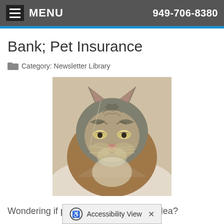MENU   949-706-8380
Bank; Pet Insurance
Category: Newsletter Library
[Figure (photo): Close-up photo of a tabby cat with brown and gray striped fur, eyes partially closed, resting on a white surface]
Wondering if pet insurance is a good idea?
Read more
Human vs Pet Medications: Why You Should Never Share Medications with Your Pet